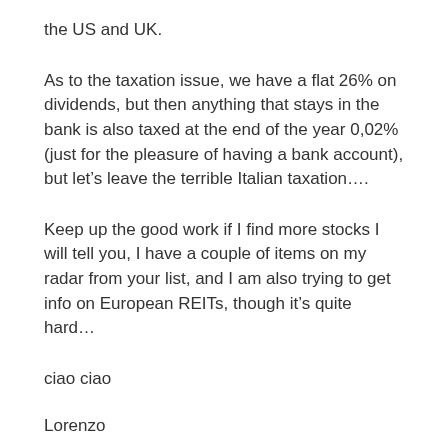the US and UK.
As to the taxation issue, we have a flat 26% on dividends, but then anything that stays in the bank is also taxed at the end of the year 0,02% (just for the pleasure of having a bank account), but let's leave the terrible Italian taxation....
Keep up the good work if I find more stocks I will tell you, I have a couple of items on my radar from your list, and I am also trying to get info on European REITs, though it's quite hard...
ciao ciao
Lorenzo
↳ Reply